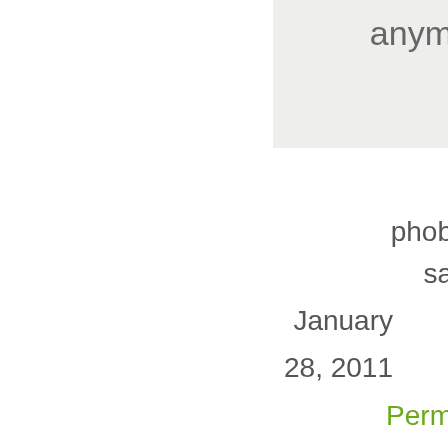anym
phob
sa
January
28, 2011
Perm
W
ca
bu
do
ha
ti
to